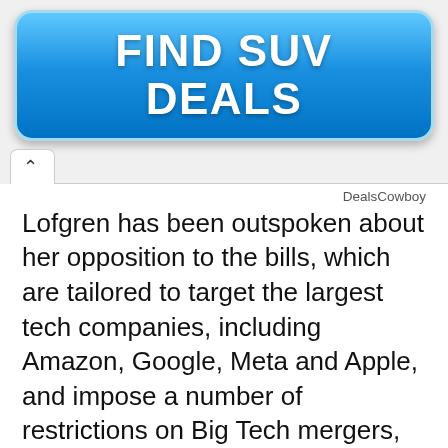[Figure (other): Blue rounded button/banner with text FIND SUV DEALS in bold white letters]
DealsCowboy
Lofgren has been outspoken about her opposition to the bills, which are tailored to target the largest tech companies, including Amazon, Google, Meta and Apple, and impose a number of restrictions on Big Tech mergers, self-preferencing practices and data policies.
“I urge that any new regulatory authority or adjustments to existing antitrust laws